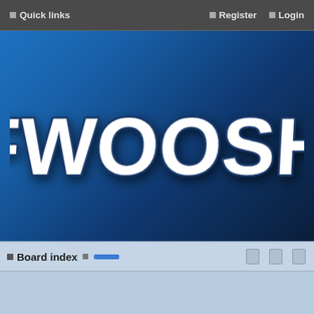Quick links   Register   Login
[Figure (logo): FWOOSH forum logo — large bold white text 'FWOOSH' on a dark blue gradient background]
Board index